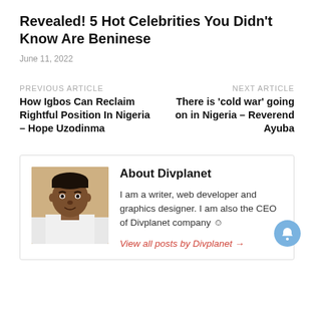Revealed! 5 Hot Celebrities You Didn't Know Are Beninese
June 11, 2022
PREVIOUS ARTICLE
How Igbos Can Reclaim Rightful Position In Nigeria – Hope Uzodinma
NEXT ARTICLE
There is 'cold war' going on in Nigeria – Reverend Ayuba
About Divplanet
[Figure (photo): Portrait photo of a young man, the author Divplanet]
I am a writer, web developer and graphics designer. I am also the CEO of Divplanet company ☺
View all posts by Divplanet →